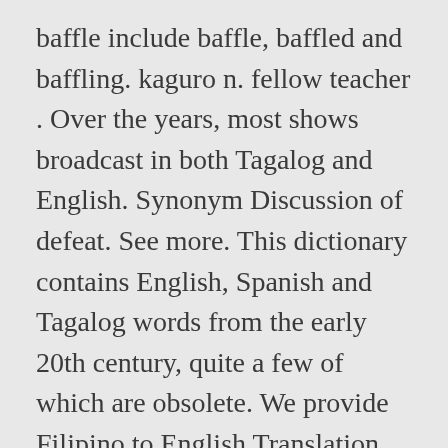baffle include baffle, baffled and baffling. kaguro n. fellow teacher . Over the years, most shows broadcast in both Tagalog and English. Synonym Discussion of defeat. See more. This dictionary contains English, Spanish and Tagalog words from the early 20th century, quite a few of which are obsolete. We provide Filipino to English Translation. kaguruan n. teachership; professorship. This is a more affordable style of comforter whereas a baffle box construction seals the feather inside the inner walls of the baffling and therefore maintains the integrity of the lofting. nalilibog (nonstandard, humorous) confused, baffled kagustuhan. adj. baffle (plural baffles) A device